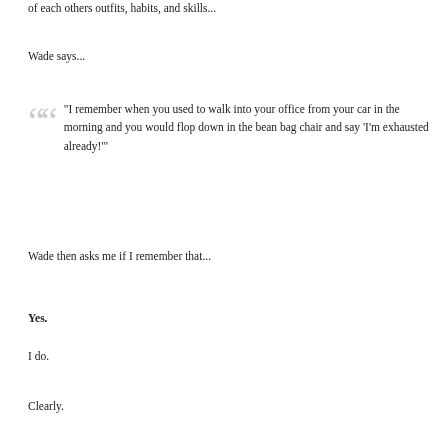of each others outfits, habits, and skills...
Wade says...
"I remember when you used to walk into your office from your car in the morning and you would flop down in the bean bag chair and say 'I'm exhausted already!'"
Wade then asks me if I remember that...
Yes.
I do.
Clearly.